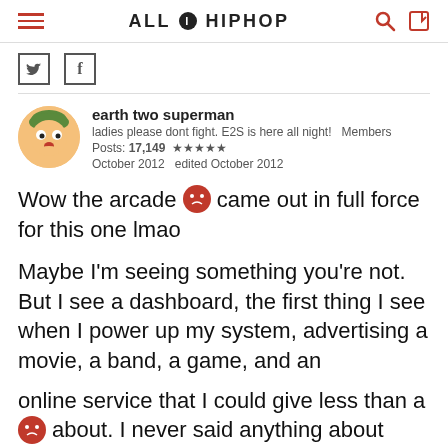ALL HIP HOP
[Figure (logo): AllHipHop website logo with stylized 'i' icon]
earth two superman
labels please dont fight. E2S is here all night!   Members
Posts: 17,149  ★★★★★
October 2012   edited October 2012
Wow the arcade [emoji] came out in full force for this one lmao

Maybe I'm seeing something you're not. But I see a dashboard, the first thing I see when I power up my system, advertising a movie, a band, a game, and an online service that I could give less than a [emoji] about. I never said anything about McDonald's (shows what ure all thinking of)